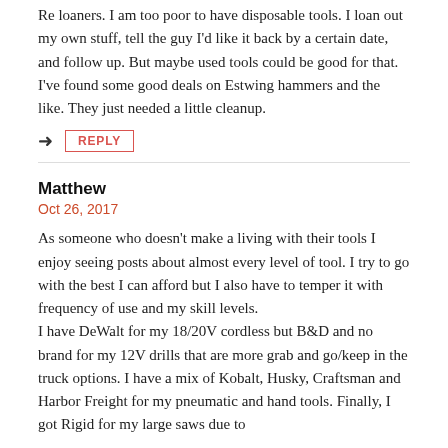Re loaners. I am too poor to have disposable tools. I loan out my own stuff, tell the guy I'd like it back by a certain date, and follow up. But maybe used tools could be good for that. I've found some good deals on Estwing hammers and the like. They just needed a little cleanup.
REPLY
Matthew
Oct 26, 2017
As someone who doesn't make a living with their tools I enjoy seeing posts about almost every level of tool. I try to go with the best I can afford but I also have to temper it with frequency of use and my skill levels.
I have DeWalt for my 18/20V cordless but B&D and no brand for my 12V drills that are more grab and go/keep in the truck options. I have a mix of Kobalt, Husky, Craftsman and Harbor Freight for my pneumatic and hand tools. Finally, I got Rigid for my large saws due to